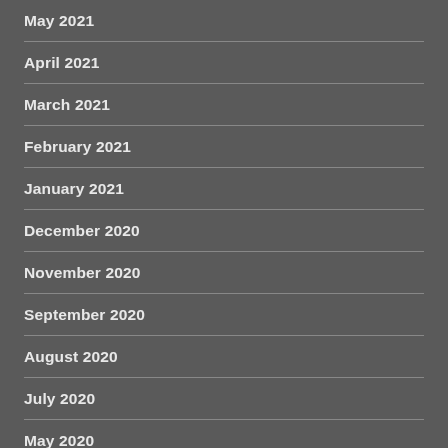May 2021
April 2021
March 2021
February 2021
January 2021
December 2020
November 2020
September 2020
August 2020
July 2020
May 2020